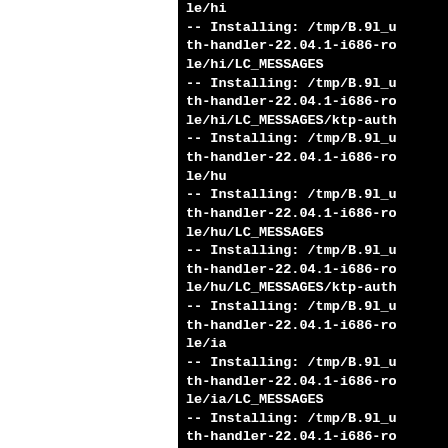[Figure (screenshot): Terminal/console output showing CMake install log lines for ktp-auth-handler-22.04.1-i686 package files being installed to /tmp/B.9l_u paths. Visible lines include paths ending in: le/hi, LC_MESSAGES, hi/LC_MESSAGES/ktp-auth, le/hu, hu/LC_MESSAGES, hu/LC_MESSAGES/ktp-auth, le/ia, ia/LC_MESSAGES, and more install lines. Left ~40% of page is white, right ~60% is black terminal background.]